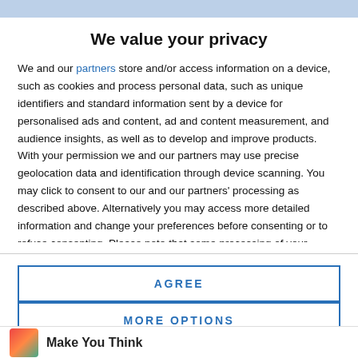We value your privacy
We and our partners store and/or access information on a device, such as cookies and process personal data, such as unique identifiers and standard information sent by a device for personalised ads and content, ad and content measurement, and audience insights, as well as to develop and improve products. With your permission we and our partners may use precise geolocation data and identification through device scanning. You may click to consent to our and our partners' processing as described above. Alternatively you may access more detailed information and change your preferences before consenting or to refuse consenting. Please note that some processing of your personal data may not require your consent, but you have a right to
AGREE
MORE OPTIONS
Make You Think